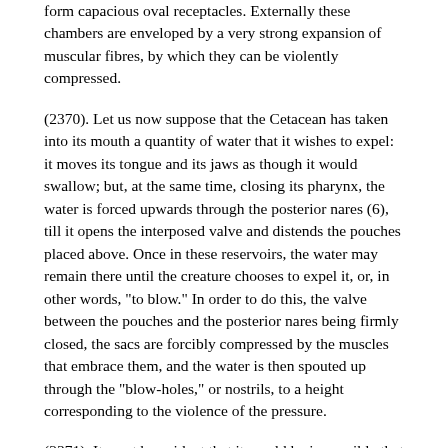form capacious oval receptacles. Externally these chambers are enveloped by a very strong expansion of muscular fibres, by which they can be violently compressed.
(2370). Let us now suppose that the Cetacean has taken into its mouth a quantity of water that it wishes to expel: it moves its tongue and its jaws as though it would swallow; but, at the same time, closing its pharynx, the water is forced upwards through the posterior nares (6), till it opens the interposed valve and distends the pouches placed above. Once in these reservoirs, the water may remain there until the creature chooses to expel it, or, in other words, "to blow." In order to do this, the valve between the pouches and the posterior nares being firmly closed, the sacs are forcibly compressed by the muscles that embrace them, and the water is then spouted up through the "blow-holes," or nostrils, to a height corresponding to the violence of the pressure.
(2371). It must be evident that it would be impossible that a nose, through which salt water is thus continually and violently forced, could be lined with a Schneiderian membrane of sufficient delicacy to be capable of receiving odorous impressions. In the Cetaceans, therefore,